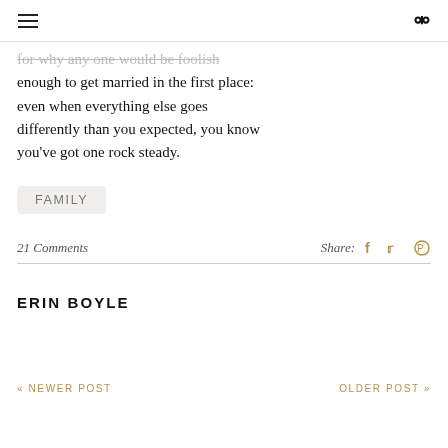menu | search
for why any one would be foolish enough to get married in the first place: even when everything else goes differently than you expected, you know you've got one rock steady.
FAMILY
21 Comments   Share:
ERIN BOYLE
« NEWER POST   OLDER POST »